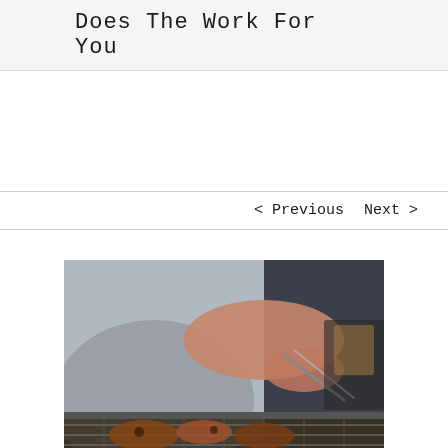Does The Work For You
< Previous   Next >
[Figure (photo): A person grilling or barbecuing food on a grill, holding tongs, with grilled meat visible on the grill grate. The person is wearing a grey shirt. Background is dark/blurred.]